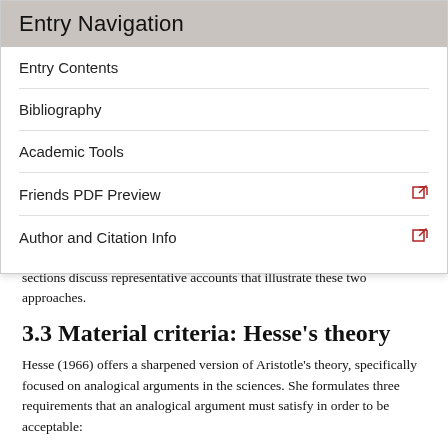Entry Navigation
Entry Contents
Bibliography
Academic Tools
Friends PDF Preview
Author and Citation Info
sections discuss representative accounts that illustrate these two approaches.
3.3 Material criteria: Hesse's theory
Hesse (1966) offers a sharpened version of Aristotle's theory, specifically focused on analogical arguments in the sciences. She formulates three requirements that an analogical argument must satisfy in order to be acceptable:
A. Requirement of material analogy. The horizontal relations must include similarities between